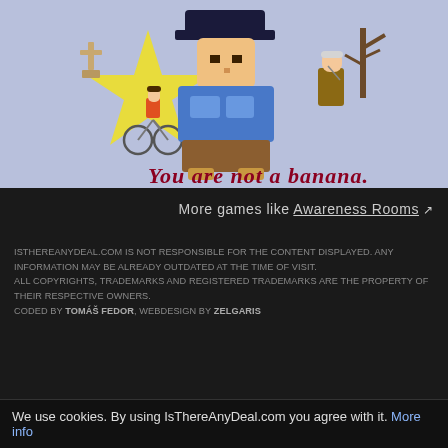[Figure (illustration): Pixel art game screenshot showing characters on a light blue/lavender background with a yellow star. A main character in blue clothing stands center, with side characters: elderly man on right, child on bicycle on left, and a cross/gravestone. Text reads 'You are not a banana.' in cursive red script at the bottom.]
More games like Awareness Rooms ↗
ISTHEREANYDEAL.COM IS NOT RESPONSIBLE FOR THE CONTENT DISPLAYED. ANY INFORMATION MAY BE ALREADY OUTDATED AT THE TIME OF VISIT. ALL COPYRIGHTS, TRADEMARKS AND REGISTERED TRADEMARKS ARE THE PROPERTY OF THEIR RESPECTIVE OWNERS. CODED BY TOMÁŠ FEDOR, WEBDESIGN BY ZELGARIS
We use cookies. By using IsThereAnyDeal.com you agree with it. More info